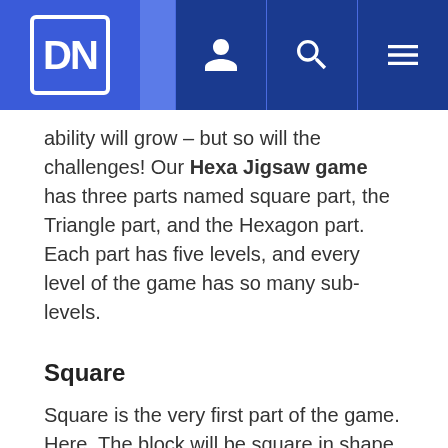DN [logo]
ability will grow – but so will the challenges! Our Hexa Jigsaw game has three parts named square part, the Triangle part, and the Hexagon part. Each part has five levels, and every level of the game has so many sub-levels.
Square
Square is the very first part of the game. Here, The block will be square in shape. This part has five levels named Beginner, Easy, Medium, Hard and Impossible. The difficulty level will increase when we go from beginner to impossible level. Each level of the game has fifty sub-levels further. The first three levels are